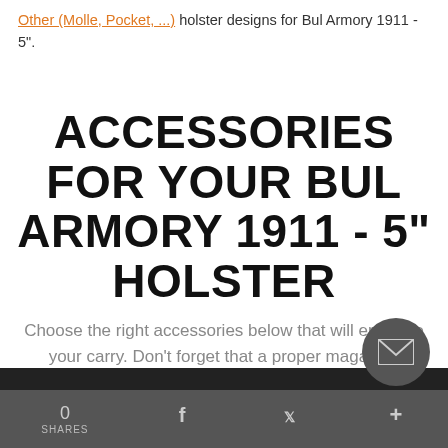Other (Molle, Pocket, ...) holster designs for Bul Armory 1911 - 5".
ACCESSORIES FOR YOUR BUL ARMORY 1911 - 5" HOLSTER
Choose the right accessories below that will enhance your carry. Don't forget that a proper magazine pouch, a belt or a concealed carry bag are always good choices.
0 SHARES   f   twitter   +